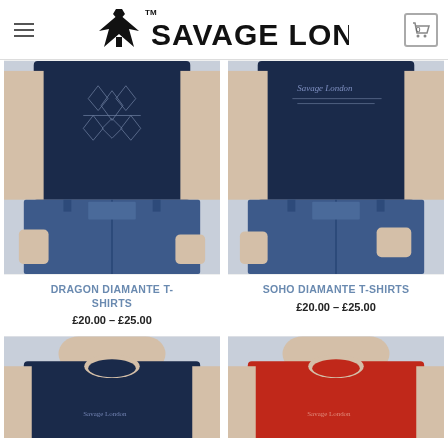Savage London
[Figure (photo): Person wearing navy blue Dragon Diamante T-shirt with jeans, torso cropped]
DRAGON DIAMANTE T-SHIRTS
£20.00 – £25.00
[Figure (photo): Person wearing navy blue Soho Diamante T-shirt with jeans, torso cropped]
SOHO DIAMANTE T-SHIRTS
£20.00 – £25.00
[Figure (photo): Person wearing navy blue T-shirt, upper body visible, cropped at bottom]
[Figure (photo): Person wearing red T-shirt, upper body visible, cropped at bottom]